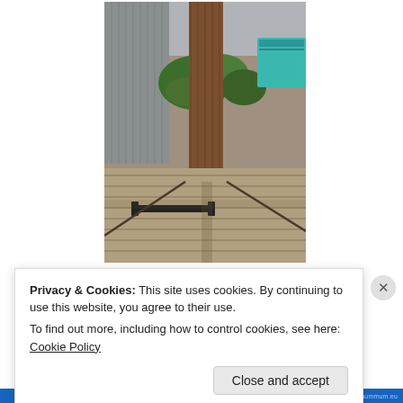[Figure (photo): Outdoor photo showing the base of a wooden post on a weathered wooden deck. There is a concrete patch around the post base, black metal hardware/bracket on the deck, a wooden fence panel to the left, green plants in the background, and a teal/blue storage container visible in the upper right. Bright sunny day.]
Privacy & Cookies: This site uses cookies. By continuing to use this website, you agree to their use.
To find out more, including how to control cookies, see here: Cookie Policy